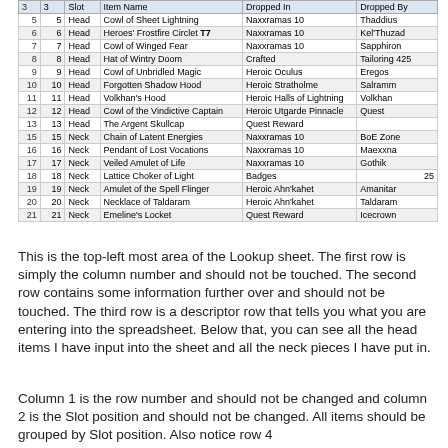|  | 3 | Slot | Item Name | Dropped In | Dropped By |
| --- | --- | --- | --- | --- | --- |
| 5 | 5 | Head | Cowl of Sheet Lightning | Naxxramas 10 | Thaddius |
| 6 | 6 | Head | Heroes' Frostfire Circlet T7 | Naxxramas 10 | Kel'Thuzad |
| 7 | 7 | Head | Cowl of Winged Fear | Naxxramas 10 | Sapphiron |
| 8 | 8 | Head | Hat of Wintry Doom | Crafted | Tailoring 425 |
| 9 | 9 | Head | Cowl of Unbridled Magic | Heroic Oculus | Eregos |
| 10 | 10 | Head | Forgotten Shadow Hood | Heroic Stratholme | Salramm |
| 11 | 11 | Head | Volkhan's Hood | Heroic Halls of Lightning | Volkhan |
| 12 | 12 | Head | Cowl of the Vindictive Captain | Heroic Utgarde Pinnacle | Quest |
| 13 | 13 | Head | The Argent Skullcap | Quest Reward |  |
| 15 | 15 | Neck | Chain of Latent Energies | Naxxramas 10 | BoE Zone |
| 16 | 16 | Neck | Pendant of Lost Vocations | Naxxramas 10 | Maexxna |
| 17 | 17 | Neck | Veiled Amulet of Life | Naxxramas 10 | Gothik |
| 18 | 18 | Neck | Lattice Choker of Light | Badges | 25 |
| 19 | 19 | Neck | Amulet of the Spell Flinger | Heroic Ahn'kahet | Amanitar |
| 20 | 20 | Neck | Necklace of Taldaram | Heroic Ahn'kahet | Taldaram |
| 21 | 21 | Neck | Emeline's Locket | Quest Reward | Icecrown |
This is the top-left most area of the Lookup sheet. The first row is simply the column number and should not be touched. The second row contains some information further over and should not be touched. The third row is a descriptor row that tells you what you are entering into the spreadsheet. Below that, you can see all the head items I have input into the sheet and all the neck pieces I have put in.
Column 1 is the row number and should not be changed and column 2 is the Slot position and should not be changed. All items should be grouped by Slot position. Also notice row 4